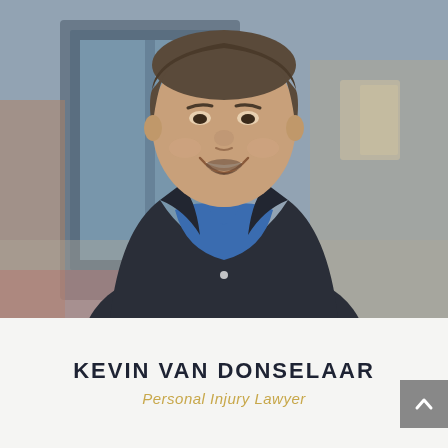[Figure (photo): Professional headshot of Kevin Van Donselaar, a middle-aged man with short brown hair and a goatee, smiling, wearing a dark pinstripe blazer over a blue button-up shirt, standing in front of a blurred urban background with glass doors and brick.]
KEVIN VAN DONSELAAR
Personal Injury Lawyer